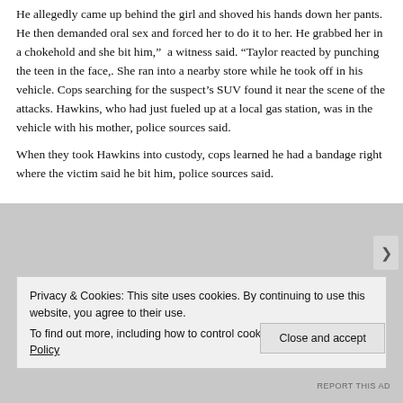He allegedly came up behind the girl and shoved his hands down her pants. He then demanded oral sex and forced her to do it to her. He grabbed her in a chokehold and she bit him,”  a witness said. “Taylor reacted by punching the teen in the face,. She ran into a nearby store while he took off in his vehicle. Cops searching for the suspect’s SUV found it near the scene of the attacks. Hawkins, who had just fueled up at a local gas station, was in the vehicle with his mother, police sources said.
When they took Hawkins into custody, cops learned he had a bandage right where the victim said he bit him, police sources said.
Privacy & Cookies: This site uses cookies. By continuing to use this website, you agree to their use.
To find out more, including how to control cookies, see here: Cookie Policy
Close and accept
REPORT THIS AD